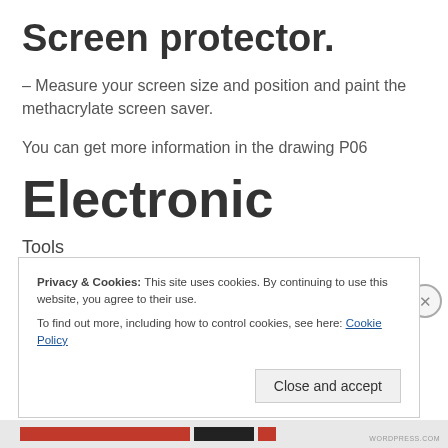Screen protector.
– Measure your screen size and position and paint the methacrylate screen saver.
You can get more information in the drawing P06
Electronic
Tools
-Soldering iron
Privacy & Cookies: This site uses cookies. By continuing to use this website, you agree to their use.
To find out more, including how to control cookies, see here: Cookie Policy
Close and accept